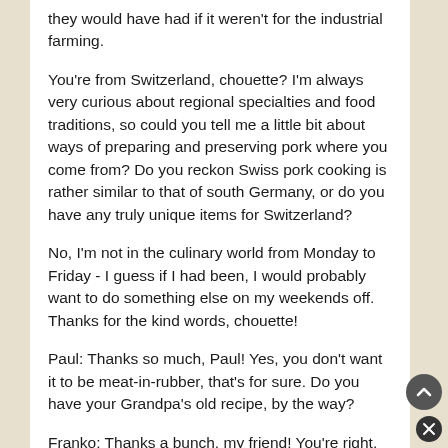they would have had if it weren't for the industrial farming.
You're from Switzerland, chouette? I'm always very curious about regional specialties and food traditions, so could you tell me a little bit about ways of preparing and preserving pork where you come from? Do you reckon Swiss pork cooking is rather similar to that of south Germany, or do you have any truly unique items for Switzerland?
No, I'm not in the culinary world from Monday to Friday - I guess if I had been, I would probably want to do something else on my weekends off. Thanks for the kind words, chouette!
Paul: Thanks so much, Paul! Yes, you don't want it to be meat-in-rubber, that's for sure. Do you have your Grandpa's old recipe, by the way?
Franko: Thanks a bunch, my friend! You're right, you know - most often, the hardest part is to actually get hold of what you need. These are rather unfashionable cuts (especially in a day where "low fat" and tasteless